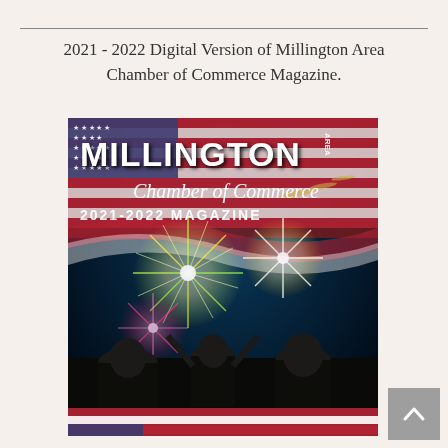2021 - 2022 Digital Version of Millington Area Chamber of Commerce Magazine.
[Figure (photo): Cover of the Millington Area Chamber of Commerce 2021-2022 Magazine, showing a family watching fireworks under an American flag, with text: MILLINGTON AREA Chamber of Commerce 2021-2022 MAGAZINE]